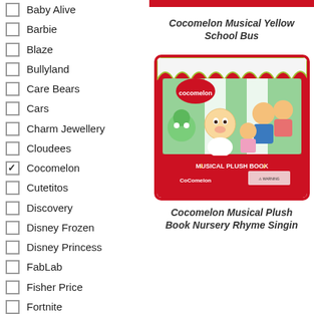Baby Alive
Barbie
Blaze
Bullyland
Care Bears
Cars
Charm Jewellery
Cloudees
Cocomelon (checked)
Cutetitos
Discovery
Disney Frozen
Disney Princess
FabLab
Fisher Price
Fortnite
Franzis
FurReal
Cocomelon Musical Yellow School Bus
[Figure (photo): Cocomelon Musical Plush Book product in red packaging showing Cocomelon characters]
Cocomelon Musical Plush Book Nursery Rhyme Singin